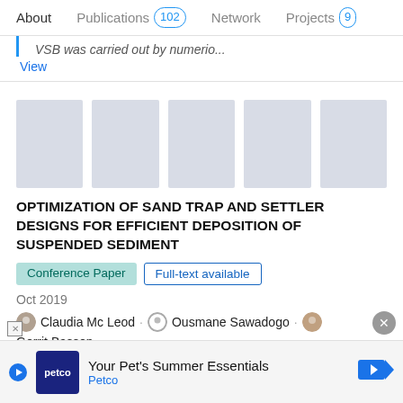About  Publications 102  Network  Projects 9
VSB was carried out by numerio...
View
[Figure (illustration): Five gray placeholder thumbnail images in a row]
OPTIMIZATION OF SAND TRAP AND SETTLER DESIGNS FOR EFFICIENT DEPOSITION OF SUSPENDED SEDIMENT
Conference Paper  Full-text available
Oct 2019
Claudia Mc Leod · Ousmane Sawadogo · Gerrit Basson
Sediment traps are structures designed to allow the suspended sediment load, which enters river abstraction works or diversion
Your Pet's Summer Essentials  Petco